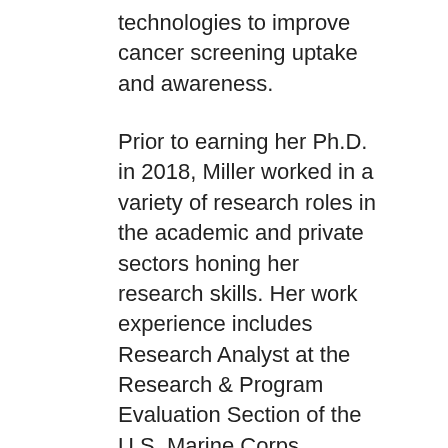technologies to improve cancer screening uptake and awareness.
Prior to earning her Ph.D. in 2018, Miller worked in a variety of research roles in the academic and private sectors honing her research skills. Her work experience includes Research Analyst at the Research & Program Evaluation Section of the U.S. Marine Corps Headquarters, Project Manager at the VCU Diabetes in Adolescence Research Team, and Research Coordinator Senior at the Massey Cancer Center's Tissue and Data Acquisition and Analysis Core.
At present, she has more than 20 publications in peer-reviewed journals and has published one book chapter. Her work has been disseminated in more than 50 poster and oral